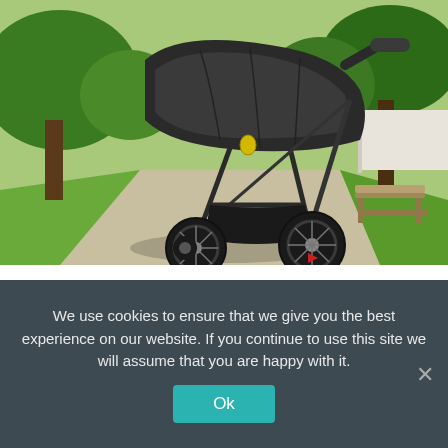[Figure (photo): A black jogging stroller with three large wheels parked on a concrete pathway in a park. Trees with green foliage are visible in the background. A small red element is visible near the rear wheel. A wooden bench is partially visible in the background on the right.]
There was even one of those #momguilt moments when our daughter was sweating
We use cookies to ensure that we give you the best experience on our website. If you continue to use this site we will assume that you are happy with it.